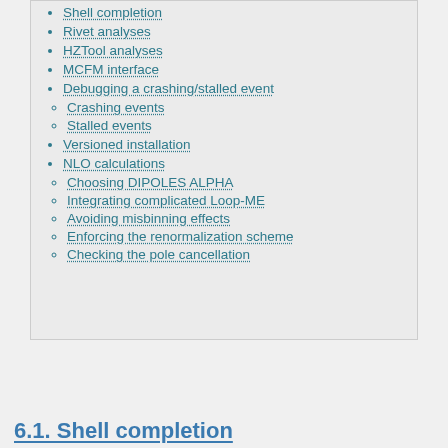Shell completion
Rivet analyses
HZTool analyses
MCFM interface
Debugging a crashing/stalled event
Crashing events
Stalled events
Versioned installation
NLO calculations
Choosing DIPOLES ALPHA
Integrating complicated Loop-ME
Avoiding misbinning effects
Enforcing the renormalization scheme
Checking the pole cancellation
6.1. Shell completion